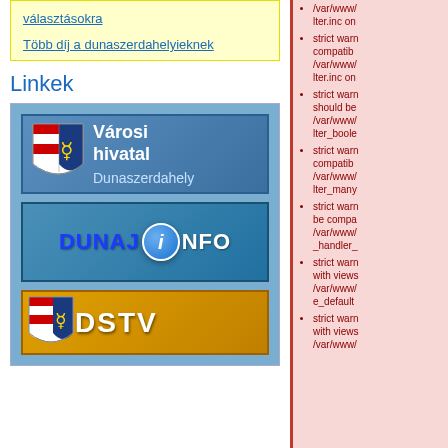választásokra
Több díj a dunaszerdahelyieknek
Linkek
[Figure (illustration): Városi hivatal Dunaszerdahely banner with coat of arms]
[Figure (illustration): DunajInfo banner with blue globe 'i' icon]
[Figure (illustration): DSTV banner with coat of arms and yellow background]
/var/www/...lter.inc on
strict warn... compatib... /var/www/...lter.inc on
strict warn... should be... /var/www/...lter_boole
strict warn... compatib... /var/www/...lter_many
strict warn... be compa... /var/www/..._handler_
strict warn... with views... /var/www/...e_default
strict warn... with views... /var/www/...